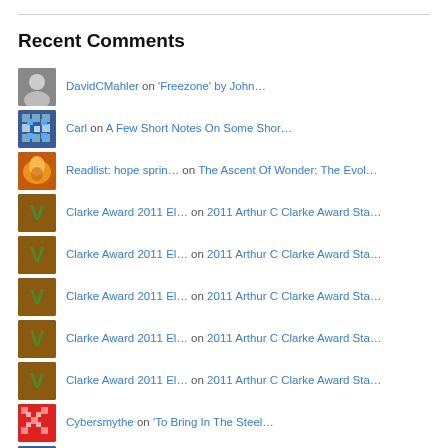Recent Comments
DavidCMahler on 'Freezone' by John…
Carl on A Few Short Notes On Some Shor…
Readlist: hope sprin… on The Ascent Of Wonder: The Evol…
Clarke Award 2011 El… on 2011 Arthur C Clarke Award Sta…
Clarke Award 2011 El… on 2011 Arthur C Clarke Award Sta…
Clarke Award 2011 El… on 2011 Arthur C Clarke Award Sta…
Clarke Award 2011 El… on 2011 Arthur C Clarke Award Sta…
Clarke Award 2011 El… on 2011 Arthur C Clarke Award Sta…
Cybersmythe on 'To Bring In The Steel…
Jonathan Sheik on 'To Bring In The Steel…